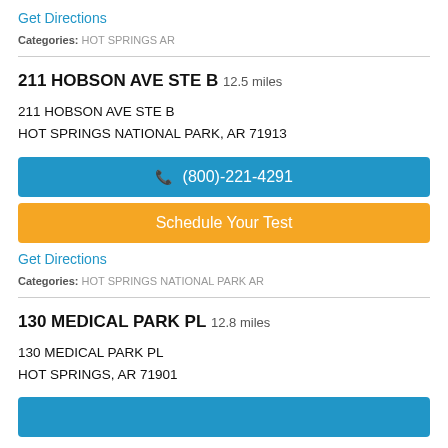Get Directions
Categories: HOT SPRINGS AR
211 HOBSON AVE STE B 12.5 miles
211 HOBSON AVE STE B
HOT SPRINGS NATIONAL PARK, AR 71913
(800)-221-4291
Schedule Your Test
Get Directions
Categories: HOT SPRINGS NATIONAL PARK AR
130 MEDICAL PARK PL 12.8 miles
130 MEDICAL PARK PL
HOT SPRINGS, AR 71901